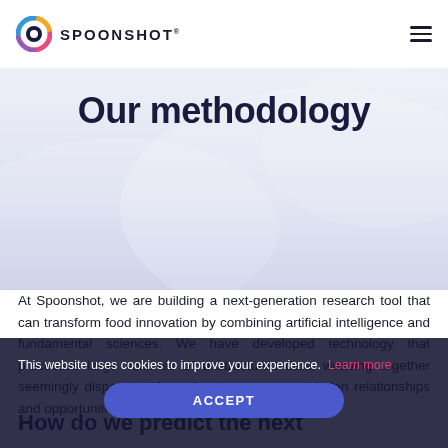SPOONSHOT
Our methodology
At Spoonshot, we are building a next-generation research tool that can transform food innovation by combining artificial intelligence and fundamental sciences. We have developed technology that processes large volumes of unstructured data, weaving together seemingly disparate information to … uncover hidden relationships and opportunities.
This website uses cookies to improve your experience. Learn more
How do we predict the next